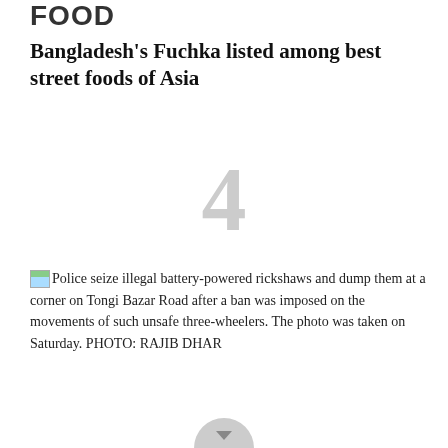FOOD
Bangladesh's Fuchka listed among best street foods of Asia
4
Police seize illegal battery-powered rickshaws and dump them at a corner on Tongi Bazar Road after a ban was imposed on the movements of such unsafe three-wheelers. The photo was taken on Saturday. PHOTO: RAJIB DHAR